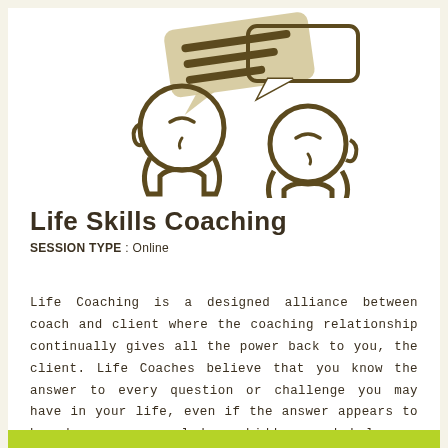[Figure (illustration): Two stylized human head silhouettes facing each other with speech bubbles above them, rendered in dark brown/olive tones on white background. The left figure has a filled speech bubble and the right has an outline speech bubble, suggesting conversation or coaching dialogue.]
Life Skills Coaching
SESSION TYPE : Online
Life Coaching is a designed alliance between coach and client where the coaching relationship continually gives all the power back to you, the client. Life Coaches believe that you know the answer to every question or challenge you may have in your life, even if the answer appears to be obscure, concealed or hidden, and help you find it.